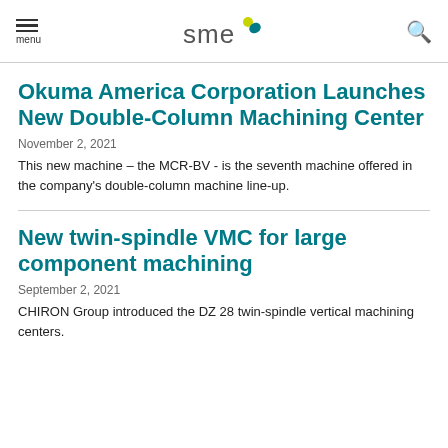menu | sme | search
Okuma America Corporation Launches New Double-Column Machining Center
November 2, 2021
This new machine – the MCR-BV - is the seventh machine offered in the company's double-column machine line-up.
New twin-spindle VMC for large component machining
September 2, 2021
CHIRON Group introduced the DZ 28 twin-spindle vertical machining centers.